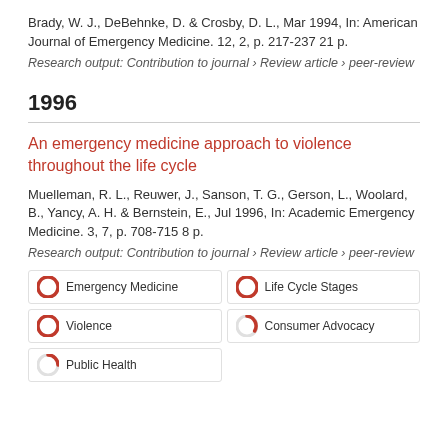Brady, W. J., DeBehnke, D. & Crosby, D. L., Mar 1994, In: American Journal of Emergency Medicine. 12, 2, p. 217-237 21 p.
Research output: Contribution to journal › Review article › peer-review
1996
An emergency medicine approach to violence throughout the life cycle
Muelleman, R. L., Reuwer, J., Sanson, T. G., Gerson, L., Woolard, B., Yancy, A. H. & Bernstein, E., Jul 1996, In: Academic Emergency Medicine. 3, 7, p. 708-715 8 p.
Research output: Contribution to journal › Review article › peer-review
Emergency Medicine
Life Cycle Stages
Violence
Consumer Advocacy
Public Health